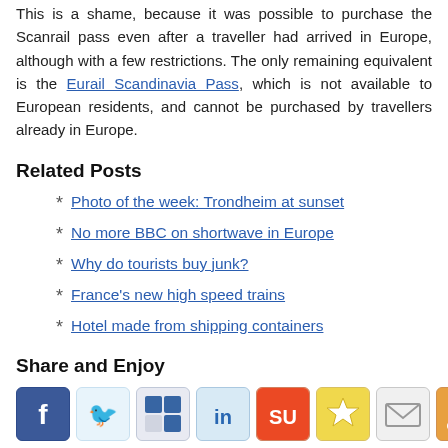This is a shame, because it was possible to purchase the Scanrail pass even after a traveller had arrived in Europe, although with a few restrictions. The only remaining equivalent is the Eurail Scandinavia Pass, which is not available to European residents, and cannot be purchased by travellers already in Europe.
Related Posts
Photo of the week: Trondheim at sunset
No more BBC on shortwave in Europe
Why do tourists buy junk?
France's new high speed trains
Hotel made from shipping containers
Share and Enjoy
[Figure (infographic): Row of social sharing icons: Facebook, Twitter, Delicious, LinkedIn, StumbleUpon, Favorites (star), Email, RSS feed]